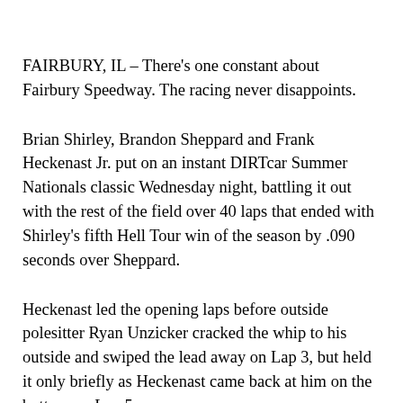FAIRBURY, IL – There's one constant about Fairbury Speedway. The racing never disappoints.
Brian Shirley, Brandon Sheppard and Frank Heckenast Jr. put on an instant DIRTcar Summer Nationals classic Wednesday night, battling it out with the rest of the field over 40 laps that ended with Shirley's fifth Hell Tour win of the season by .090 seconds over Sheppard.
Heckenast led the opening laps before outside polesitter Ryan Unzicker cracked the whip to his outside and swiped the lead away on Lap 3, but held it only briefly as Heckenast came back at him on the bottom on Lap 5.
Sheppard climbed aboard his horse on a restart after the caution on Lap 8, throwing a slide job on Unzicker for second as